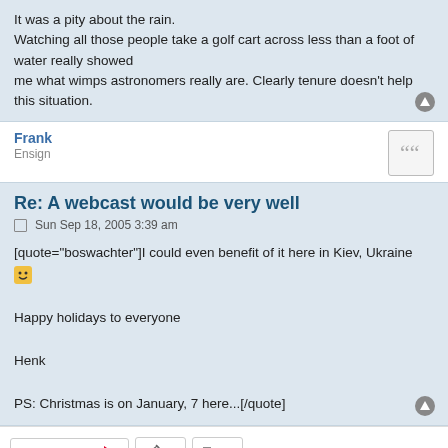It was a pity about the rain.
Watching all those people take a golf cart across less than a foot of water really showed
me what wimps astronomers really are. Clearly tenure doesn't help this situation.
Frank
Ensign
Re: A webcast would be very well
Sun Sep 18, 2005 3:39 am
[quote="boswachter"]I could even benefit of it here in Kiev, Ukraine

Happy holidays to everyone

Henk

PS: Christmas is on January, 7 here...[/quote]
Post Reply | 74 posts | 1 | 2 | 3